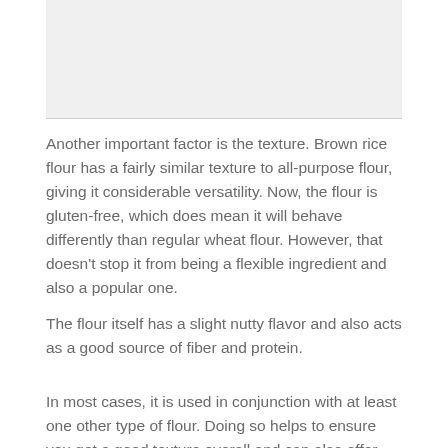[Figure (other): Image placeholder at top of page]
Another important factor is the texture. Brown rice flour has a fairly similar texture to all-purpose flour, giving it considerable versatility. Now, the flour is gluten-free, which does mean it will behave differently than regular wheat flour. However, that doesn't stop it from being a flexible ingredient and also a popular one.
The flour itself has a slight nutty flavor and also acts as a good source of fiber and protein.
In most cases, it is used in conjunction with at least one other type of flour. Doing so helps to ensure you get a good texture overall and can also offer